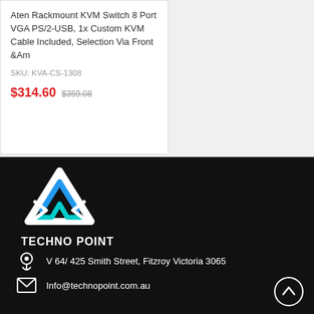Aten Rackmount KVM Switch 8 Port VGA PS/2-USB, 1x Custom KVM Cable Included, Selection Via Front &Am
SKU: KVA-CS-1308
$314.60  $359.08
[Figure (logo): Techno Point logo - geometric hexagonal/arrow shape in white, blue and cyan colors with TECHNO POINT text below]
V 64/ 425 Smith Street, Fitzroy Victoria 3065
Info@technopoint.com.au